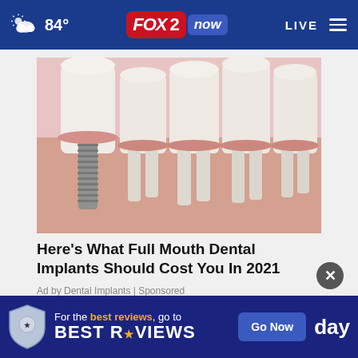84° FOX 2 now LIVE
[Figure (photo): Medical illustration of a dental implant (titanium screw) inserted into the jawbone, shown in cross-section with surrounding teeth]
Here's What Full Mouth Dental Implants Should Cost You In 2021
Ad by Dental Implants | Sponsored
MORE STORIES ›
[Figure (infographic): Bottom advertisement banner: 'For the best reviews, go to BESTREVIEWS' with a Go Now button and shield logo. Partially visible 'day' text on the right.]